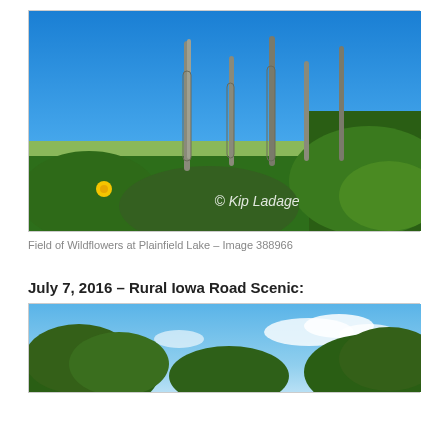[Figure (photo): Field of wildflowers at Plainfield Lake with tall spike plants against a blue sky, with a yellow flower visible on the left and green foliage. Watermark reads '© Kip Ladage'.]
Field of Wildflowers at Plainfield Lake – Image 388966
July 7, 2016 – Rural Iowa Road Scenic:
[Figure (photo): Partial view of a rural Iowa road scenic showing green trees against a partly cloudy blue sky.]